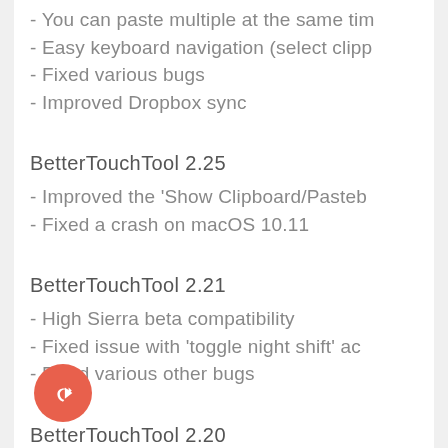- You can paste multiple at the same tim
- Easy keyboard navigation (select clipp
- Fixed various bugs
- Improved Dropbox sync
BetterTouchTool 2.25
- Improved the 'Show Clipboard/Pasteb
- Fixed a crash on macOS 10.11
BetterTouchTool 2.21
- High Sierra beta compatibility
- Fixed issue with 'toggle night shift' ac
- Fixed various other bugs
BetterTouchTool 2.20
- Hopefully fix various hanging/crashing